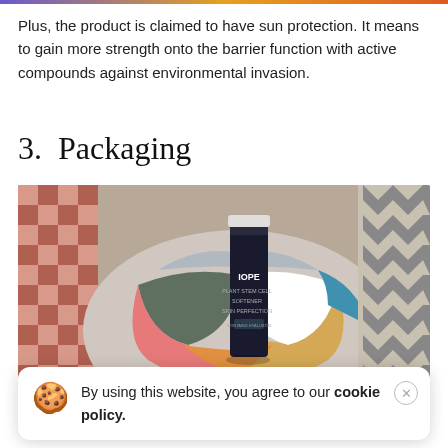Plus, the product is claimed to have sun protection. It means to gain more strength onto the barrier function with active compounds against environmental invasion.
3. Packaging
[Figure (photo): Photo of an IOPE Plant Stem Cell Softener Skin Perfection bottle resting on a colorful knitted textile ball, against a patterned background.]
By using this website, you agree to our cookie policy.